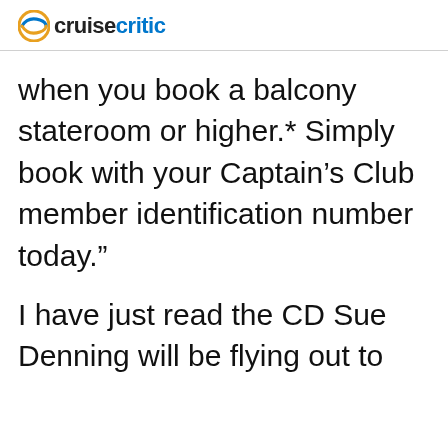cruise critic
when you book a balcony stateroom or higher.* Simply book with your Captain’s Club member identification number today.”
I have just read the CD Sue Denning will be flying out to